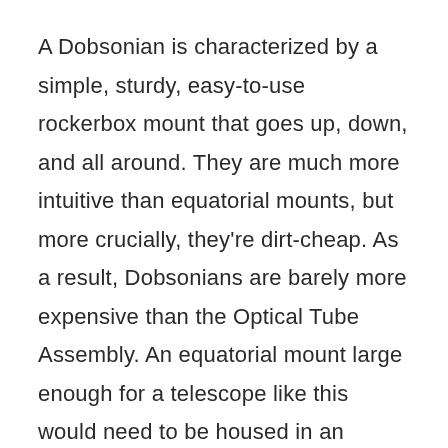A Dobsonian is characterized by a simple, sturdy, easy-to-use rockerbox mount that goes up, down, and all around. They are much more intuitive than equatorial mounts, but more crucially, they're dirt-cheap. As a result, Dobsonians are barely more expensive than the Optical Tube Assembly. An equatorial mount large enough for a telescope like this would need to be housed in an observatory.
The rockerbox requires some assembly, which took maybe an hour. All the necessary tools are included. When assembling the azimuth bearing, basically